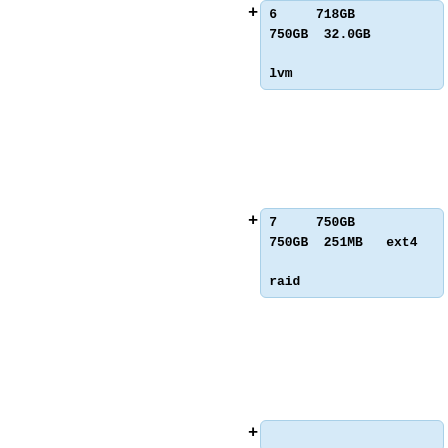+ 6   718GB
750GB   32.0GB

lvm
+ 7   750GB
750GB   251MB   ext4

raid
+
+ Model: ATA WDC WD7500AAKS-0 (scsi)
+ Disk /dev/sdd: 750GB
+ Sector size (logical/physical): 512B/512B
+ Partition Table: gpt
+ Disk Flags: